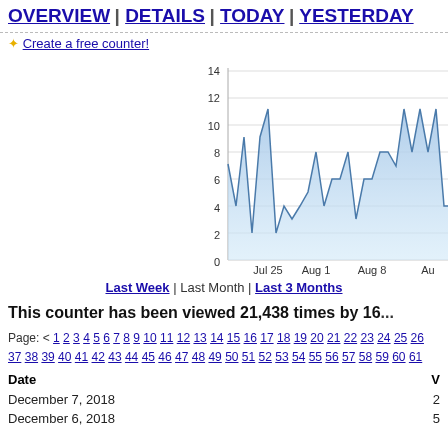OVERVIEW | DETAILS | TODAY | YESTERDAY
✦ Create a free counter!
[Figure (area-chart): Area chart showing daily visits, two overlapping series (light blue filled area and outlined area), x-axis labels: Jul 25, Aug 1, Aug 8, Aug (cutoff), y-axis 0-14]
Last Week | Last Month | Last 3 Months
This counter has been viewed 21,438 times by 16...
Page: < 1 2 3 4 5 6 7 8 9 10 11 12 13 14 15 16 17 18 19 20 21 22 23 24 25 26 37 38 39 40 41 42 43 44 45 46 47 48 49 50 51 52 53 54 55 56 57 58 59 60 61
| Date | V |
| --- | --- |
| December 7, 2018 | 2 |
| December 6, 2018 | 5 |